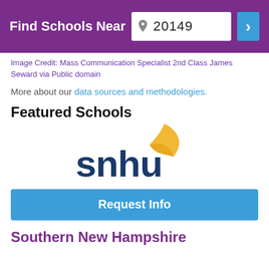Find Schools Near 20149
Image Credit: Mass Communication Specialist 2nd Class James Seward via Public domain
More about our data sources and methodologies.
Featured Schools
[Figure (logo): SNHU (Southern New Hampshire University) logo with gold leaf and dark blue text]
Request Info
Southern New Hampshire